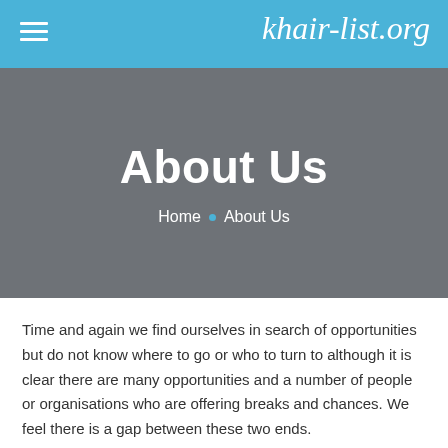khair-list.org
About Us
Home • About Us
Time and again we find ourselves in search of opportunities but do not know where to go or who to turn to although it is clear there are many opportunities and a number of people or organisations who are offering breaks and chances. We feel there is a gap between these two ends.